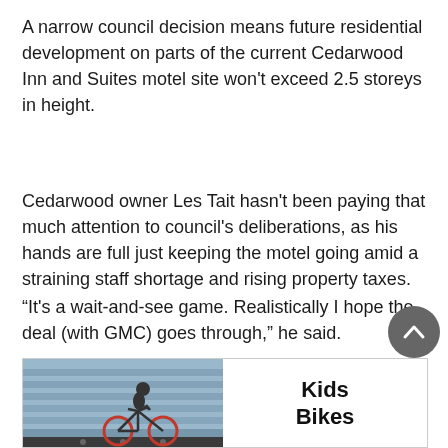A narrow council decision means future residential development on parts of the current Cedarwood Inn and Suites motel site won't exceed 2.5 storeys in height.
Cedarwood owner Les Tait hasn't been paying that much attention to council's deliberations, as his hands are full just keeping the motel going amid a straining staff shortage and rising property taxes.
“It's a wait-and-see game. Realistically I hope the deal (with GMC) goes through,” he said.
On Monday, Couns. Barbara Fallot, Scott Garnett, Chad Rintoul and Peter Wainwright voted in favour of changing
[Figure (photo): Advertisement banner showing a child on a bike with text 'Kids Bikes']